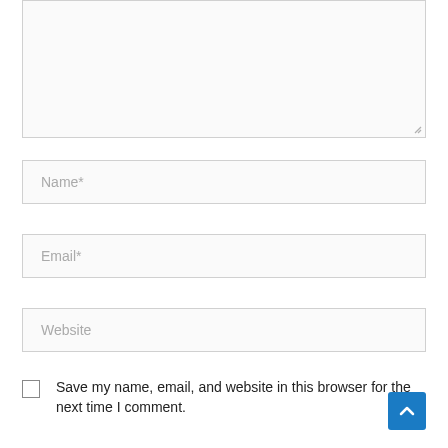[Figure (screenshot): Textarea input box (empty, with resize handle at bottom right)]
Name*
Email*
Website
Save my name, email, and website in this browser for the next time I comment.